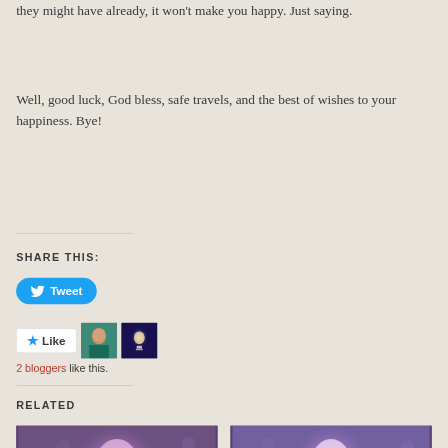they might have already, it won't make you happy. Just saying.
Well, good luck, God bless, safe travels, and the best of wishes to your happiness. Bye!
SHARE THIS:
[Figure (other): Twitter Tweet button - rounded blue button with Twitter bird icon and text 'Tweet']
[Figure (other): Like button with star icon and two blogger avatar thumbnails. Text: 2 bloggers like this.]
RELATED
[Figure (photo): Purple-toned photo of a light bulb - related article thumbnail]
[Figure (photo): Purple-toned photo of a light bulb outdoors - related article thumbnail]
Follow